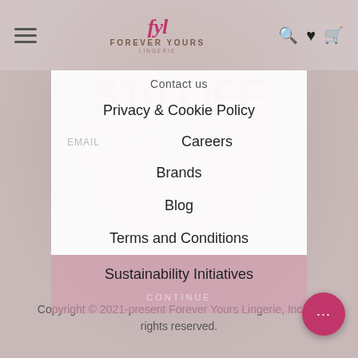[Figure (screenshot): Forever Yours Lingerie website navigation screenshot with dropdown menu overlay showing menu items and copyright footer]
Contact Us
Privacy & Cookie Policy
Careers
Brands
Blog
Terms and Conditions
Sustainability Initiatives
Copyright © 2021-present Forever Yours Lingerie, Inc. All rights reserved.